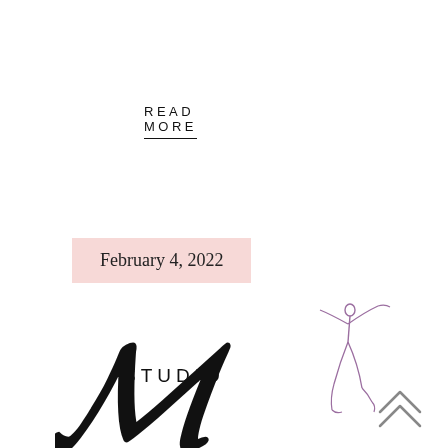READ MORE
February 4, 2022
[Figure (logo): Studio M dance logo with large cursive M and ballet dancer silhouette in purple]
[Figure (illustration): Double chevron up arrow icon]